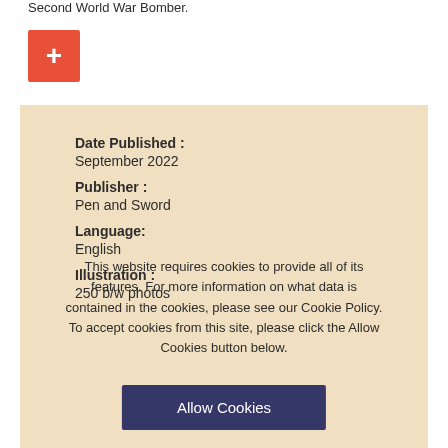Second World War Bomber.
[Figure (other): Orange/red square button with white plus sign]
Date Published :
September 2022
Publisher :
Pen and Sword
Language:
English
Illustration :
250 b/w photos
This website requires cookies to provide all of its features. For more information on what data is contained in the cookies, please see our Cookie Policy. To accept cookies from this site, please click the Allow Cookies button below.
Allow Cookies